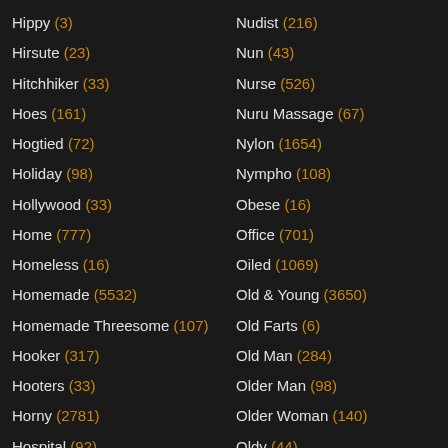Hippy (3)
Hirsute (23)
Hitchhiker (33)
Hoes (161)
Hogtied (72)
Holiday (98)
Hollywood (33)
Home (777)
Homeless (16)
Homemade (5532)
Homemade Threesome (107)
Hooker (317)
Hooters (33)
Horny (2781)
Hospital (92)
Hot Babe (366)
Nudist (216)
Nun (43)
Nurse (526)
Nuru Massage (67)
Nylon (1654)
Nympho (108)
Obese (16)
Office (701)
Oiled (1069)
Old & Young (3650)
Old Farts (6)
Old Man (284)
Older Man (98)
Older Woman (140)
Oldy (44)
On Her Knees (80)